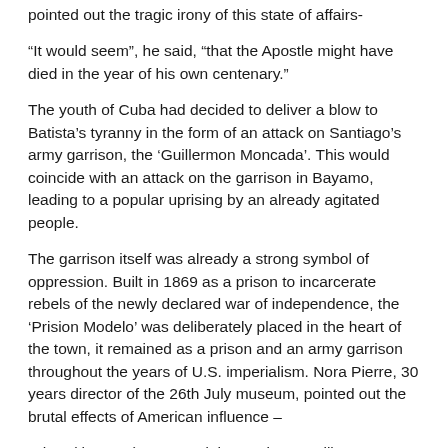pointed out the tragic irony of this state of affairs-
“It would seem”, he said, “that the Apostle might have died in the year of his own centenary.”
The youth of Cuba had decided to deliver a blow to Batista’s tyranny in the form of an attack on Santiago’s army garrison, the ‘Guillermon Moncada’. This would coincide with an attack on the garrison in Bayamo, leading to a popular uprising by an already agitated people.
The garrison itself was already a strong symbol of oppression. Built in 1869 as a prison to incarcerate rebels of the newly declared war of independence, the ‘Prision Modelo’ was deliberately placed in the heart of the town, it remained as a prison and an army garrison throughout the years of U.S. imperialism. Nora Pierre, 30 years director of the 26th July museum, pointed out the brutal effects of American influence –
“They (the U.S.) re-named the garrison ‘Guillermon Moncada’, supposedly in homage to one of the important generals in the war for freedom. But the oppression and torture was reproduced with more rigour. It was actually more bloody than under the Spanish.”
In a country where any large group on the move might be seen as dangerous to public order, the date to gather was chosen to coincide with Santiago’s famous carnival celebrations. During the night of the 25th of July, as the streets of the city still rang